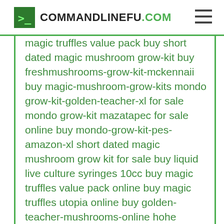COMMANDLINEFU.COM
magic truffles value pack buy short dated magic mushroom grow-kit buy freshmushrooms-grow-kit-mckennaii buy magic-mushroom-grow-kits mondo grow-kit-golden-teacher-xl for sale mondo grow-kit mazatapec for sale online buy mondo-grow-kit-pes-amazon-xl short dated magic mushroom grow kit for sale buy liquid live culture syringes 10cc buy magic truffles value pack online buy magic truffles utopia online buy golden-teacher-mushrooms-online hohe Hawaiianer in Deutschland kaufen magic truffles tampanensis for sale buy magic truffles hollandia online microdosing-magic-truffles-6-x-1grams for sale buy magic truffles high hawaiians online pressed psilocybin capsules 1500mg for sale north coast remedies low dose tincture 7500mg for sale buy shroom gummies 1000mg buy high hawaiians germany buy high hawaiians in germany